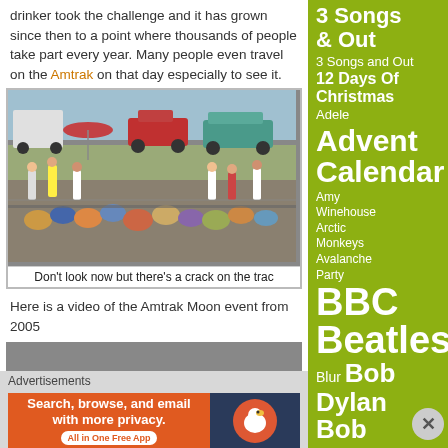drinker took the challenge and it has grown since then to a point where thousands of people take part every year. Many people even travel on the Amtrak on that day especially to see it.
[Figure (photo): Outdoor event scene with crowd of people along train tracks, vintage cars in background including a teal station wagon and red pickup truck, sunny day]
Don't look now but there's a crack on the trac
Here is a video of the Amtrak Moon event from 2005
3 Songs & Out
3 Songs and Out
12 Days Of Christmas
Adele
Advent Calendar
Amy Winehouse
Arctic Monkeys
Avalanche Party
BBC
Beatles
Blur
Bob Dylan
Bob
Advertisements
[Figure (screenshot): DuckDuckGo advertisement banner: Search, browse, and email with more privacy. All in One Free App]